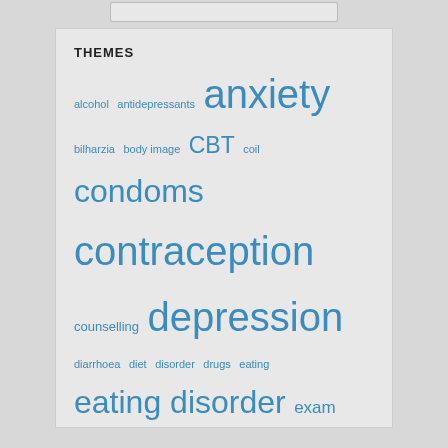THEMES
alcohol antidepressants anxiety bilharzia body image CBT coil condoms contraception counselling depression diarrhoea diet disorder drugs eating eating disorder exam exercise fever health help immunisation implant Malaria malignant melanoma mental mental health mental wellbeing mindfulness nurse rash relaxation revision schistosomiasis self hypnosis sexual health STI stress support talking therapies testicular travel treatment